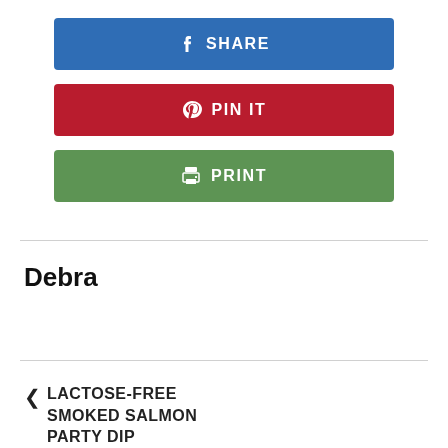[Figure (other): Facebook Share button — blue rounded rectangle with 'f' icon and 'SHARE' label in white]
[Figure (other): Pinterest Pin It button — dark red rounded rectangle with Pinterest 'P' icon and 'PIN IT' label in white]
[Figure (other): Print button — green rounded rectangle with printer icon and 'PRINT' label in white]
Debra
< LACTOSE-FREE SMOKED SALMON PARTY DIP